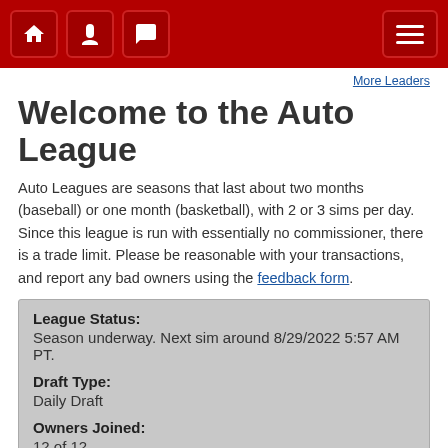Navigation bar with home, temperature, message icons and hamburger menu
More Leaders
Welcome to the Auto League
Auto Leagues are seasons that last about two months (baseball) or one month (basketball), with 2 or 3 sims per day. Since this league is run with essentially no commissioner, there is a trade limit. Please be reasonable with your transactions, and report any bad owners using the feedback form.
| League Status: | Season underway. Next sim around 8/29/2022 5:57 AM PT. |
| Draft Type: | Daily Draft |
| Owners Joined: | 12 of 12 |